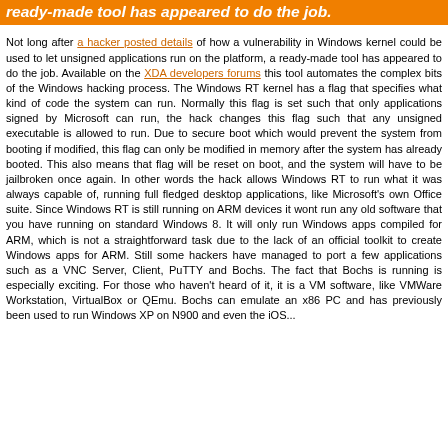ready-made tool has appeared to do the job.
Not long after a hacker posted details of how a vulnerability in Windows kernel could be used to let unsigned applications run on the platform, a ready-made tool has appeared to do the job. Available on the XDA developers forums this tool automates the complex bits of the Windows hacking process. The Windows RT kernel has a flag that specifies what kind of code the system can run. Normally this flag is set such that only applications signed by Microsoft can run, the hack changes this flag such that any unsigned executable is allowed to run. Due to secure boot which would prevent the system from booting if modified, this flag can only be modified in memory after the system has already booted. This also means that flag will be reset on boot, and the system will have to be jailbroken once again. In other words the hack allows Windows RT to run what it was always capable of, running full fledged desktop applications, like Microsoft's own Office suite. Since Windows RT is still running on ARM devices it wont run any old software that you have running on standard Windows 8. It will only run Windows apps compiled for ARM, which is not a straightforward task due to the lack of an official toolkit to create Windows apps for ARM. Still some hackers have managed to port a few applications such as a VNC Server, Client, PuTTY and Bochs. The fact that Bochs is running is especially exciting. For those who haven't heard of it, it is a VM software, like VMWare Workstation, VirtualBox or QEmu. Bochs can emulate an x86 PC and has previously been used to run Windows XP on N900 and even the iOS...